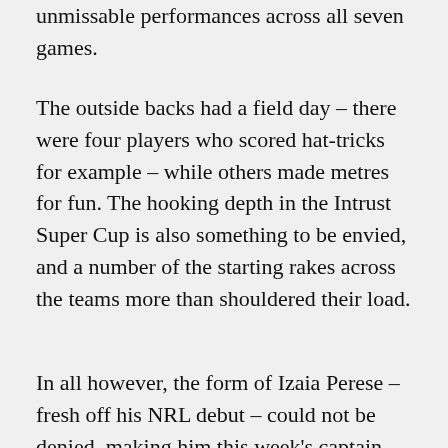unmissable performances across all seven games.
The outside backs had a field day – there were four players who scored hat-tricks for example – while others made metres for fun. The hooking depth in the Intrust Super Cup is also something to be envied, and a number of the starting rakes across the teams more than shouldered their load.
In all however, the form of Izaia Perese – fresh off his NRL debut – could not be denied, making him this week's captain.